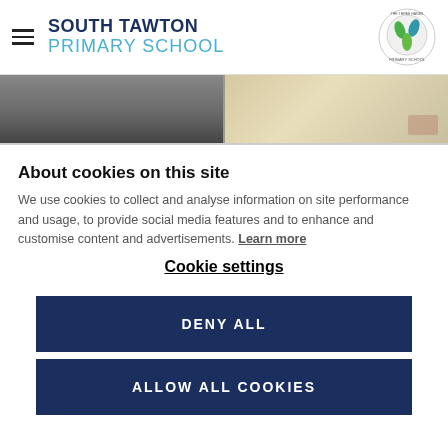SOUTH TAWTON PRIMARY SCHOOL
[Figure (photo): Banner showing two photos: left side shows a person's legs/feet near a door, right side shows documents on a desk with hands]
About cookies on this site
We use cookies to collect and analyse information on site performance and usage, to provide social media features and to enhance and customise content and advertisements. Learn more
Cookie settings
DENY ALL
ALLOW ALL COOKIES